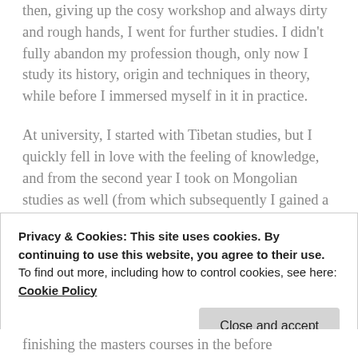then, giving up the cosy workshop and always dirty and rough hands, I went for further studies. I didn't fully abandon my profession though, only now I study its history, origin and techniques in theory, while before I immersed myself in it in practice.
At university, I started with Tibetan studies, but I quickly fell in love with the feeling of knowledge, and from the second year I took on Mongolian studies as well (from which subsequently I gained a PhD degree). This was still not enough, so I decided to pay a visit to the African studies programme and I stayed there for the next few years. Within this particular programme I was lucky
Privacy & Cookies: This site uses cookies. By continuing to use this website, you agree to their use.
To find out more, including how to control cookies, see here: Cookie Policy
finishing the masters courses in the before mentioned